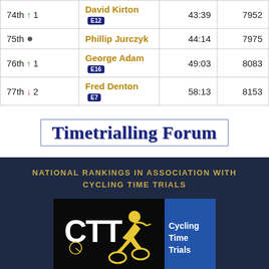| Rank | Name | Time | Points |
| --- | --- | --- | --- |
| 74th ↑ 1 | David Kirton • E12 | 43:39 | 7952 |
| 75th • | Phillip Jurczyk | 44:14 | 7975 |
| 76th ↑ 1 | George Adam • E16 | 49:03 | 8083 |
| 77th ↓ 2 | Fred Denton • E7 | 58:13 | 8153 |
Timetrialling Forum
NATIONAL RANKINGS IN ASSOCIATION WITH CYCLING TIME TRIALS
[Figure (logo): Cycling Time Trials (CTT) logo with cyclist silhouette and text]